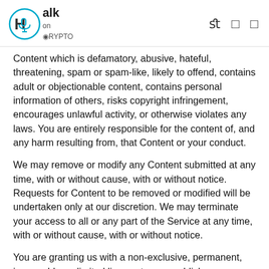Talk on Crypto — logo and navigation icons
Content which is defamatory, abusive, hateful, threatening, spam or spam-like, likely to offend, contains adult or objectionable content, contains personal information of others, risks copyright infringement, encourages unlawful activity, or otherwise violates any laws. You are entirely responsible for the content of, and any harm resulting from, that Content or your conduct.
We may remove or modify any Content submitted at any time, with or without cause, with or without notice. Requests for Content to be removed or modified will be undertaken only at our discretion. We may terminate your access to all or any part of the Service at any time, with or without cause, with or without notice.
You are granting us with a non-exclusive, permanent, irrevocable, unlimited license to use, publish, or re-publish your Content in connection with the Service. You retain copyright over the Content.